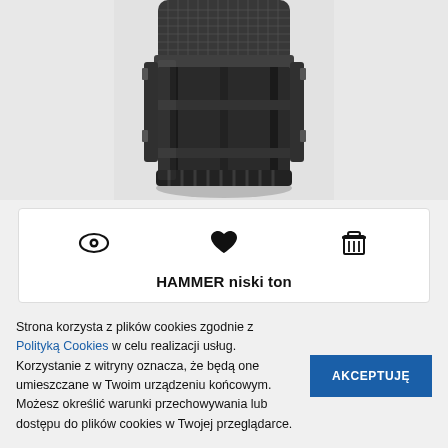[Figure (photo): Close-up photo of a black cylindrical microphone capsule (HAMMER) with mesh grille on top and metal body, on light grey background.]
[Figure (infographic): White product card with three icons: eye (view), heart (favourite), and trash/basket (add to cart), followed by product name HAMMER niski ton in bold.]
HAMMER niski ton
Strona korzysta z plików cookies zgodnie z Polityką Cookies w celu realizacji usług. Korzystanie z witryny oznacza, że będą one umieszczane w Twoim urządzeniu końcowym. Możesz określić warunki przechowywania lub dostępu do plików cookies w Twojej przeglądarce.
AKCEPTUJĘ